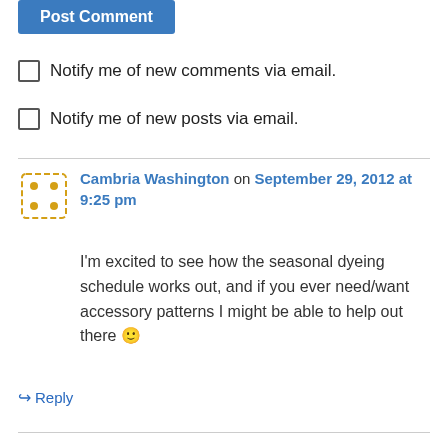[Figure (other): Post Comment button (blue)]
Notify me of new comments via email.
Notify me of new posts via email.
Cambria Washington on September 29, 2012 at 9:25 pm
I'm excited to see how the seasonal dyeing schedule works out, and if you ever need/want accessory patterns I might be able to help out there 🙂
↳ Reply